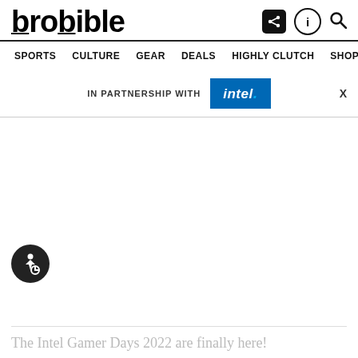brobible
SPORTS  CULTURE  GEAR  DEALS  HIGHLY CLUTCH  SHOP >
IN PARTNERSHIP WITH intel. X
[Figure (logo): Accessibility icon - dark circle with wheelchair user symbol]
The Intel Gamer Days 2022 are finally here!